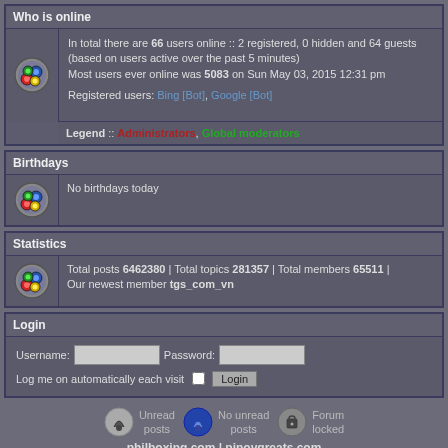Who is online
In total there are 66 users online :: 2 registered, 0 hidden and 64 guests (based on users active over the past 5 minutes)
Most users ever online was 5083 on Sun May 03, 2015 12:31 pm

Registered users: Bing [Bot], Google [Bot]
Legend :: Administrators, Global moderators
Birthdays
No birthdays today
Statistics
Total posts 6462380 | Total topics 281357 | Total members 65511 | Our newest member tgs_com_vn
Login
Username: [input] Password: [input] Log me on automatically each visit [checkbox] Login
Unread posts
No unread posts
Forum locked
philboxing.com | pinoygreats.com
Powered by phpBB® Forum Software © phpBB Group